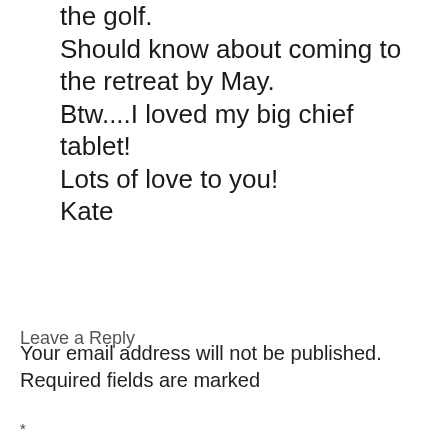the golf. Should know about coming to the retreat by May. Btw....I loved my big chief tablet! Lots of love to you! Kate
Leave a Reply
Your email address will not be published. Required fields are marked
*